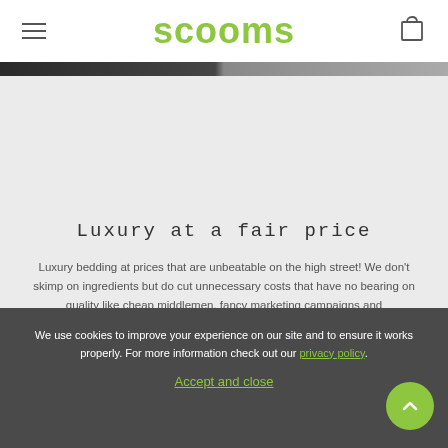scooms
[Figure (photo): Dark scenic image strip across the page]
Luxury at a fair price
Luxury bedding at prices that are unbeatable on the high street! We don't skimp on ingredients but do cut unnecessary costs that have no bearing on quality like cheap middlemen, fancy marketing campaigns and...
We use cookies to improve your experience on our site and to ensure it works properly. For more information check out our privacy policy.
Accept and close